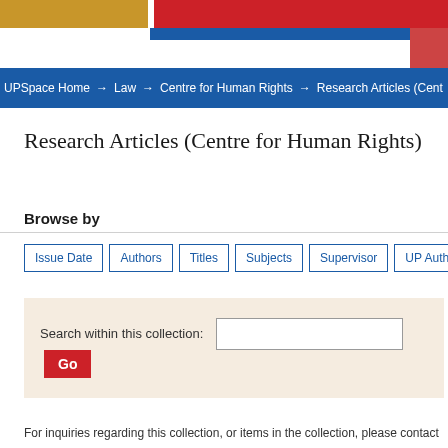[Figure (screenshot): University website header banner with gold, red, and blue color blocks]
UPSpace Home → Law → Centre for Human Rights → Research Articles (Cent
Research Articles (Centre for Human Rights)
Browse by
Issue Date | Authors | Titles | Subjects | Supervisor | UP Author | UP Postgra
Search within this collection: [input] Go
For inquiries regarding this collection, or items in the collection, please contact